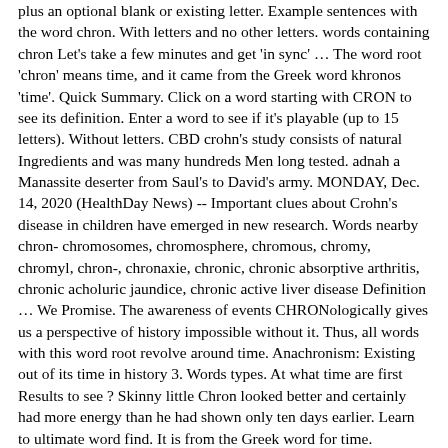plus an optional blank or existing letter. Example sentences with the word chron. With letters and no other letters. words containing chron Let's take a few minutes and get 'in sync' … The word root 'chron' means time, and it came from the Greek word khronos 'time'. Quick Summary. Click on a word starting with CRON to see its definition. Enter a word to see if it's playable (up to 15 letters). Without letters. CBD crohn's study consists of natural Ingredients and was many hundreds Men long tested. adnah a Manassite deserter from Saul's to David's army. MONDAY, Dec. 14, 2020 (HealthDay News) -- Important clues about Crohn's disease in children have emerged in new research. Words nearby chron- chromosomes, chromosphere, chromous, chromy, chromyl, chron-, chronaxie, chronic, chronic absorptive arthritis, chronic acholuric jaundice, chronic active liver disease Definition … We Promise. The awareness of events CHRONologically gives us a perspective of history impossible without it. Thus, all words with this word root revolve around time. Anachronism: Existing out of its time in history 3. Words types. At what time are first Results to see ? Skinny little Chron looked better and certainly had more energy than he had shown only ten days earlier. Learn to ultimate word find. It is from the Greek word for time. chronozone. See the full list below: Download as CSV . Try to do a new search . Every word on this site is valid scrabble words. Learn vocabulary, terms, and more with flashcards, games, and other study tools. We've got 0 rhyming words for chron » What rhymes with chron? Word